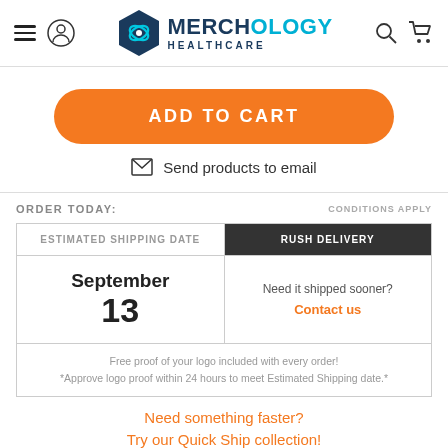Merchology Healthcare
ADD TO CART
Send products to email
ORDER TODAY:
CONDITIONS APPLY
| ESTIMATED SHIPPING DATE | RUSH DELIVERY |
| --- | --- |
| September
13 | Need it shipped sooner?
Contact us |
| Free proof of your logo included with every order!
*Approve logo proof within 24 hours to meet Estimated Shipping date.* |  |
Need something faster?
Try our Quick Ship collection!